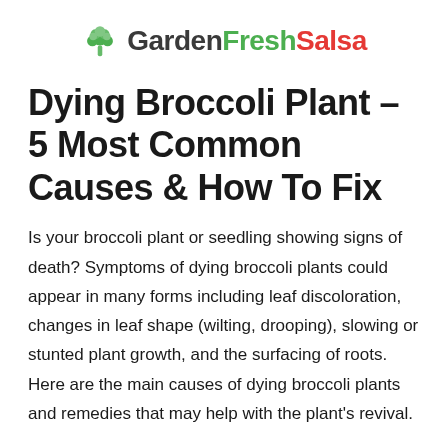GardenFreshSalsa
Dying Broccoli Plant – 5 Most Common Causes & How To Fix
Is your broccoli plant or seedling showing signs of death? Symptoms of dying broccoli plants could appear in many forms including leaf discoloration, changes in leaf shape (wilting, drooping), slowing or stunted plant growth, and the surfacing of roots. Here are the main causes of dying broccoli plants and remedies that may help with the plant's revival.